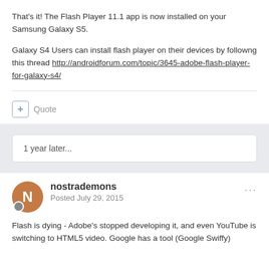That's it! The Flash Player 11.1 app is now installed on your Samsung Galaxy S5.
Galaxy S4 Users can install flash player on their devices by followng this thread http://androidforum.com/topic/3645-adobe-flash-player-for-galaxy-s4/
+ Quote
1 year later...
nostrademons
Posted July 29, 2015
Flash is dying - Adobe's stopped developing it, and even YouTube is switching to HTML5 video.  Google has a tool (Google Swiffy)